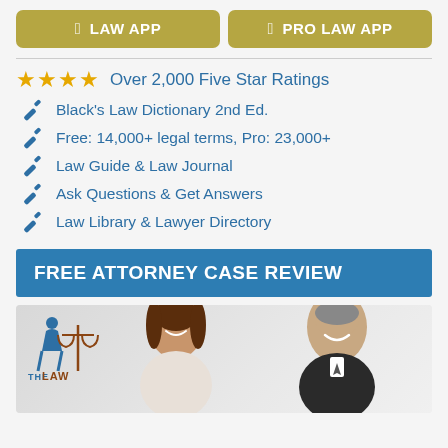[Figure (other): Two app buttons: LAW APP and PRO LAW APP with olive/tan background and Apple logo icons]
Over 2,000 Five Star Ratings
Black's Law Dictionary 2nd Ed.
Free: 14,000+ legal terms, Pro: 23,000+
Law Guide & Law Journal
Ask Questions & Get Answers
Law Library & Lawyer Directory
FREE ATTORNEY CASE REVIEW
[Figure (photo): Photo of a smiling man and woman (lawyers) with The Law logo in the upper left corner]